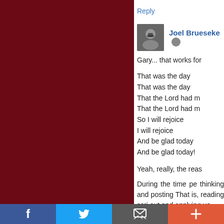[Figure (photo): Dark red/maroon colored rectangle occupying the left portion of the page, likely a blog sidebar or post image]
Reply
Joel Brueseke
Gary... that works for
That was the day
That was the day
That the Lord had m
That the Lord had m
So I will rejoice
I will rejoice
And be glad today
And be glad today!
Yeah, really, the reas
During the time pe thinking and posting That is, reading scri out and applying ve